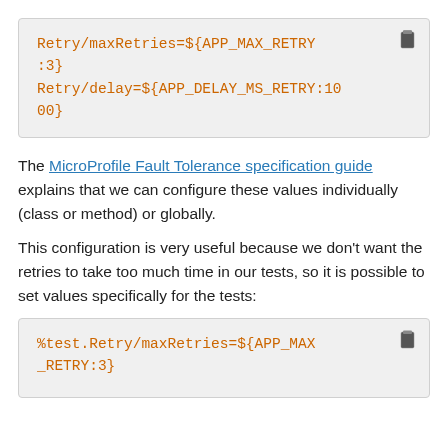[Figure (screenshot): Code block showing: Retry/maxRetries=${APP_MAX_RETRY:3}
Retry/delay=${APP_DELAY_MS_RETRY:1000}]
The MicroProfile Fault Tolerance specification guide explains that we can configure these values individually (class or method) or globally.
This configuration is very useful because we don't want the retries to take too much time in our tests, so it is possible to set values specifically for the tests:
[Figure (screenshot): Code block showing: %test.Retry/maxRetries=${APP_MAX_RETRY:3}]